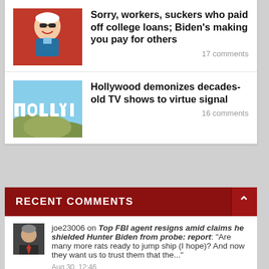[Figure (illustration): Cartoon illustration of Biden wearing sunglasses on red background]
Sorry, workers, suckers who paid off college loans; Biden's making you pay for others
17 comments
[Figure (photo): Photo of Hollywood sign on hillside]
Hollywood demonizes decades-old TV shows to virtue signal
16 comments
RECENT COMMENTS
[Figure (photo): Avatar photo of user joe23006]
joe23006 on Top FBI agent resigns amid claims he shielded Hunter Biden from probe: report: "Are many more rats ready to jump ship (I hope)? And now they want us to trust them that the..."
Aug 30, 12:46